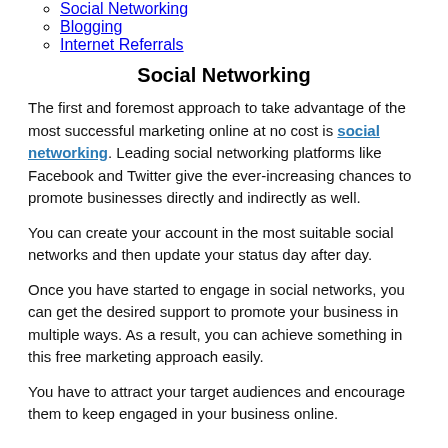Social Networking
Blogging
Internet Referrals
Social Networking
The first and foremost approach to take advantage of the most successful marketing online at no cost is social networking. Leading social networking platforms like Facebook and Twitter give the ever-increasing chances to promote businesses directly and indirectly as well.
You can create your account in the most suitable social networks and then update your status day after day.
Once you have started to engage in social networks, you can get the desired support to promote your business in multiple ways. As a result, you can achieve something in this free marketing approach easily.
You have to attract your target audiences and encourage them to keep engaged in your business online.